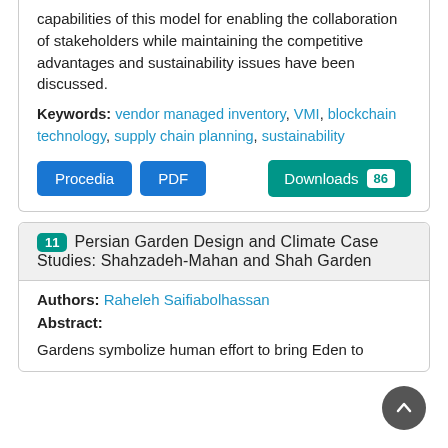capabilities of this model for enabling the collaboration of stakeholders while maintaining the competitive advantages and sustainability issues have been discussed.
Keywords: vendor managed inventory, VMI, blockchain technology, supply chain planning, sustainability
Procedia  PDF  Downloads 86
11 Persian Garden Design and Climate Case Studies: Shahzadeh-Mahan and Shah Garden
Authors: Raheleh Saifiabolhassan
Abstract:
Gardens symbolize human effort to bring Eden to